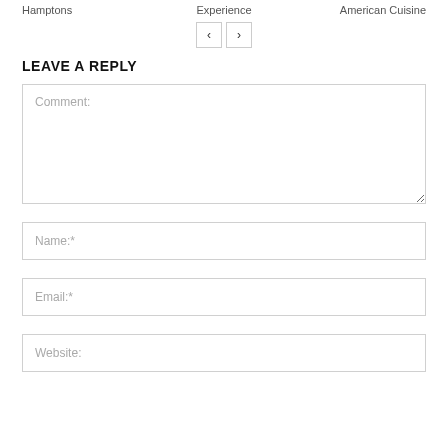Hamptons   Experience   American Cuisine
< >
LEAVE A REPLY
Comment:
Name:*
Email:*
Website: